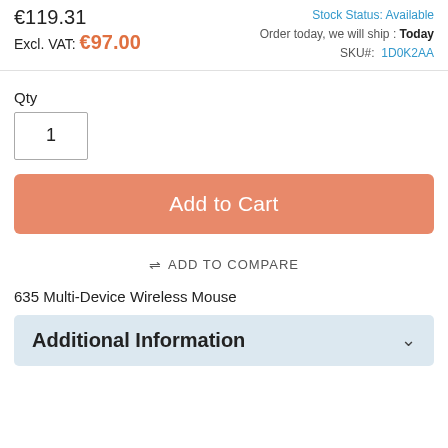€119.31
Excl. VAT: €97.00
Stock Status: Available
Order today, we will ship : Today
SKU#: 1D0K2AA
Qty
1
Add to Cart
⇌ ADD TO COMPARE
635 Multi-Device Wireless Mouse
Additional Information